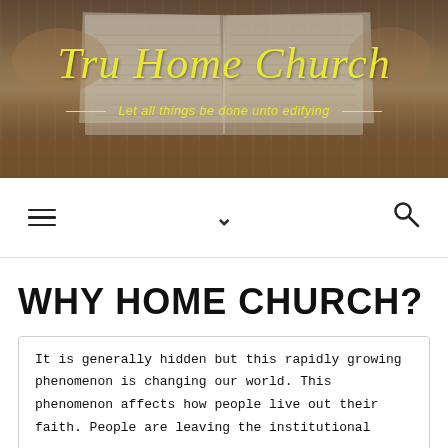[Figure (photo): Photo of hands writing in an open Bible on a wooden table, used as website header background]
Tru Home Church
— Let all things be done unto edifying —
Navigation bar with hamburger menu, chevron dropdown, and search icon
WHY HOME CHURCH?
It is generally hidden but this rapidly growing phenomenon is changing our world. This phenomenon affects how people live out their faith. People are leaving the institutional